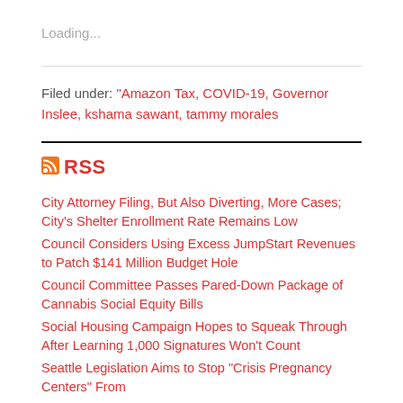Loading...
Filed under: "Amazon Tax, COVID-19, Governor Inslee, kshama sawant, tammy morales
RSS
City Attorney Filing, But Also Diverting, More Cases; City's Shelter Enrollment Rate Remains Low
Council Considers Using Excess JumpStart Revenues to Patch $141 Million Budget Hole
Council Committee Passes Pared-Down Package of Cannabis Social Equity Bills
Social Housing Campaign Hopes to Squeak Through After Learning 1,000 Signatures Won't Count
Seattle Legislation Aims to Stop "Crisis Pregnancy Centers" From